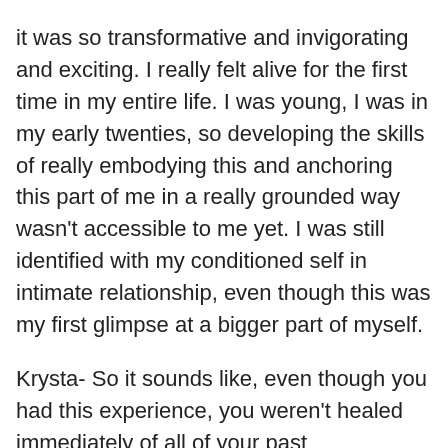it was so transformative and invigorating and exciting. I really felt alive for the first time in my entire life. I was young, I was in my early twenties, so developing the skills of really embodying this and anchoring this part of me in a really grounded way wasn't accessible to me yet. I was still identified with my conditioned self in intimate relationship, even though this was my first glimpse at a bigger part of myself.
Krysta- So it sounds like, even though you had this experience, you weren't healed immediately of all of your past conditioning.
Harmony- Right.
Krysta- You still had things to deal with.